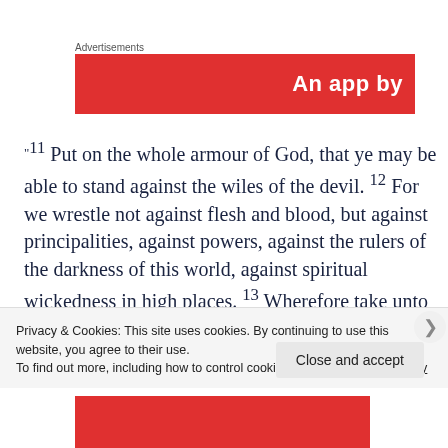Advertisements
[Figure (other): Red advertisement banner with white text 'An app by']
"11 Put on the whole armour of God, that ye may be able to stand against the wiles of the devil. 12 For we wrestle not against flesh and blood, but against principalities, against powers, against the rulers of the darkness of this world, against spiritual wickedness in high places. 13 Wherefore take unto you the whole armour of God, that ye may be
Privacy & Cookies: This site uses cookies. By continuing to use this website, you agree to their use.
To find out more, including how to control cookies, see here: Cookie Policy
Close and accept